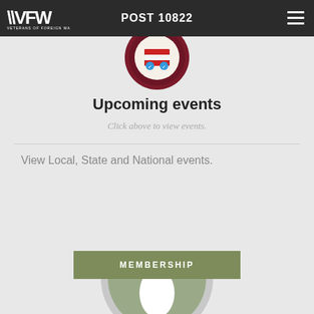POST 10822
[Figure (illustration): VFW circular badge/seal with dark red border and American flag icon in center, partially cropped at top]
Upcoming events
Click above to view events.
View Local, State and National events.
[Figure (illustration): Olive green MEMBERSHIP button banner, with partially visible circular VFW membership badge/photo below it]